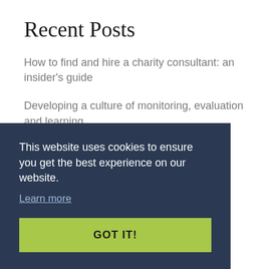Recent Posts
How to find and hire a charity consultant: an insider's guide
Developing a culture of monitoring, evaluation and learning
Giving responsibly to Ukraine
This website uses cookies to ensure you get the best experience on our website.
Learn more
GOT IT!